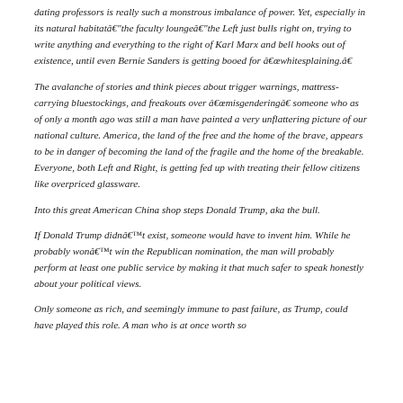dating professors is really such a monstrous imbalance of power. Yet, especially in its natural habitat—the faculty lounge—the Left just bulls right on, trying to write anything and everything to the right of Karl Marx and bell hooks out of existence, until even Bernie Sanders is getting booed for “whitesplaining.”
The avalanche of stories and think pieces about trigger warnings, mattress-carrying bluestockings, and freakouts over “misgengering” someone who as of only a month ago was still a man have painted a very unflattering picture of our national culture. America, the land of the free and the home of the brave, appears to be in danger of becoming the land of the fragile and the home of the breakable. Everyone, both Left and Right, is getting fed up with treating their fellow citizens like overpriced glassware.
Into this great American China shop steps Donald Trump, aka the bull.
If Donald Trump didn’t exist, someone would have to invent him. While he probably won’t win the Republican nomination, the man will probably perform at least one public service by making it that much safer to speak honestly about your political views.
Only someone as rich, and seemingly immune to past failure, as Trump, could have played this role. A man who is at once worth so